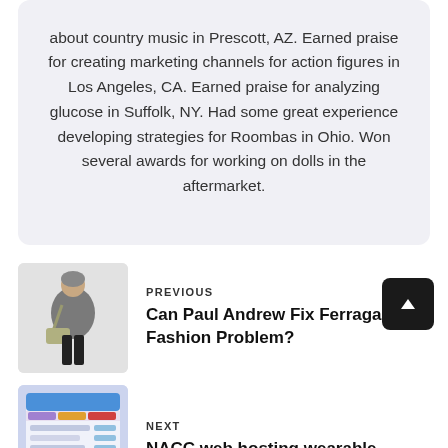about country music in Prescott, AZ. Earned praise for creating marketing channels for action figures in Los Angeles, CA. Earned praise for analyzing glucose in Suffolk, NY. Had some great experience developing strategies for Roombas in Ohio. Won several awards for working on dolls in the aftermarket.
PREVIOUS
Can Paul Andrew Fix Ferragamo's Fashion Problem?
[Figure (photo): A person wearing a grey sweater and black pants, carrying a shoulder bag, photographed against a light background.]
NEXT
NACC web hosting wearable
[Figure (screenshot): A mobile or desktop app screenshot showing a web hosting or dashboard interface with colorful UI elements including blue, purple, orange, and red bars.]